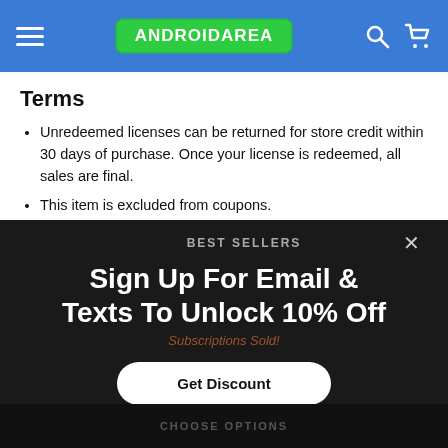ANDROIDAREA
Terms
Unredeemed licenses can be returned for store credit within 30 days of purchase. Once your license is redeemed, all sales are final.
This item is excluded from coupons.
BEST SELLERS
Sign Up For Email & Texts To Unlock 10% Off
Subscriptions Sold!
Get Discount
CHOOSE OPTIONS